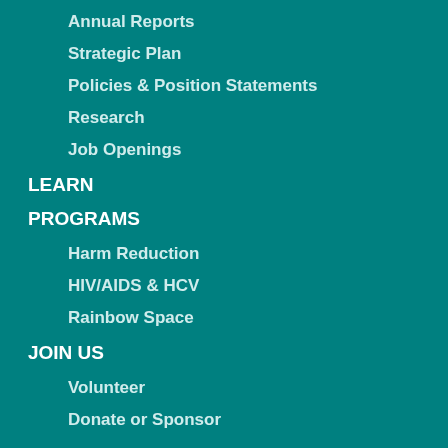Annual Reports
Strategic Plan
Policies & Position Statements
Research
Job Openings
LEARN
PROGRAMS
Harm Reduction
HIV/AIDS & HCV
Rainbow Space
JOIN US
Volunteer
Donate or Sponsor
CALENDAR